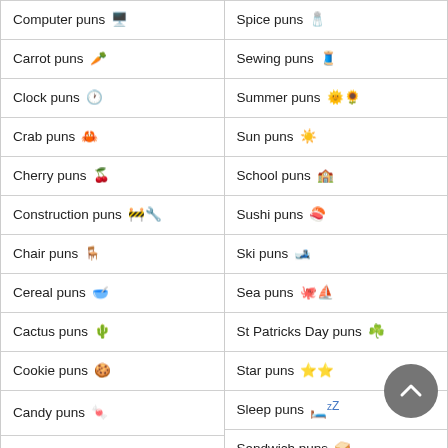Computer puns 🖥️
Carrot puns 🥕
Clock puns 🕐
Crab puns 🦀
Cherry puns 🍒
Construction puns 🚧🔧
Chair puns 🪑
Cereal puns 🥣
Cactus puns 🌵
Cookie puns 🍪
Candy puns 🍬
Car puns 🚗
Cooking puns 🔍
Cat puns 🐱
Spice puns 🧂
Sewing puns 🧵
Summer puns 🌞🌻
Sun puns ☀️
School puns 🏫
Sushi puns 🍣
Ski puns 🎿
Sea puns 🐙⛵
St Patricks Day puns ☘️
Star puns ⭐🌟
Sleep puns 🛏️💤
Sandwich puns 🥪
Succulent puns 🌵
Seal puns